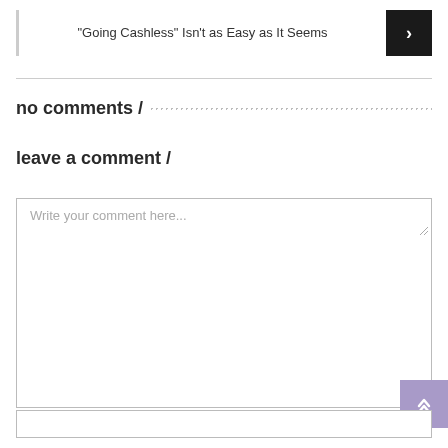"Going Cashless" Isn't as Easy as It Seems
no comments /
leave a comment /
Write your comment here...